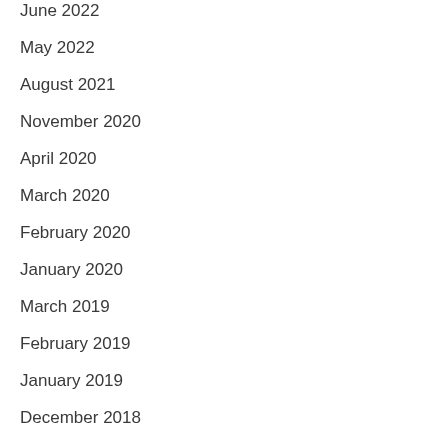June 2022
May 2022
August 2021
November 2020
April 2020
March 2020
February 2020
January 2020
March 2019
February 2019
January 2019
December 2018